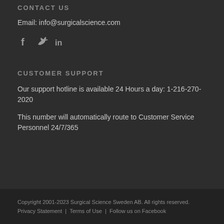CONTACT US
Email: info@surgicalscience.com
[Figure (illustration): Social media icons: Facebook (f), Twitter (bird), LinkedIn (in)]
CUSTOMER SUPPORT
Our support hotline is available 24 Hours a day: 1-216-270-2020
This number will automatically route to Customer Service Personnel 24/7/365
Copyright 2001-2023 Surgical Science Sweden AB. All rights reserved. Privacy Statement | Terms of Use | Follow us on Facebook